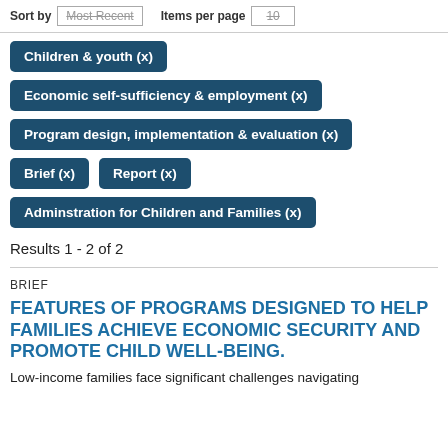Sort by Most Recent  Items per page 10
Children & youth (x)
Economic self-sufficiency & employment (x)
Program design, implementation & evaluation (x)
Brief (x)
Report (x)
Adminstration for Children and Families (x)
Results 1 - 2 of 2
BRIEF
FEATURES OF PROGRAMS DESIGNED TO HELP FAMILIES ACHIEVE ECONOMIC SECURITY AND PROMOTE CHILD WELL-BEING.
Low-income families face significant challenges navigating